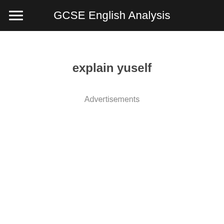GCSE English Analysis
explain yuself
Advertisements